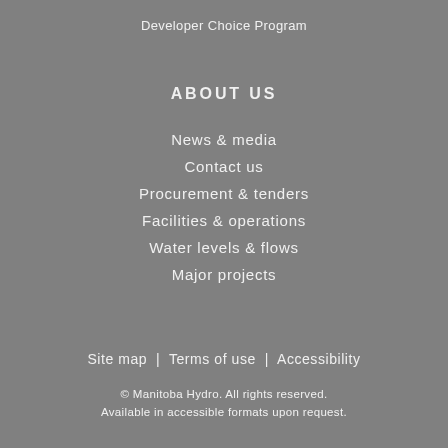Developer Choice Program
ABOUT US
News & media
Contact us
Procurement & tenders
Facilities & operations
Water levels & flows
Major projects
Site map  |  Terms of use  |  Accessibility
© Manitoba Hydro. All rights reserved.
Available in accessible formats upon request.